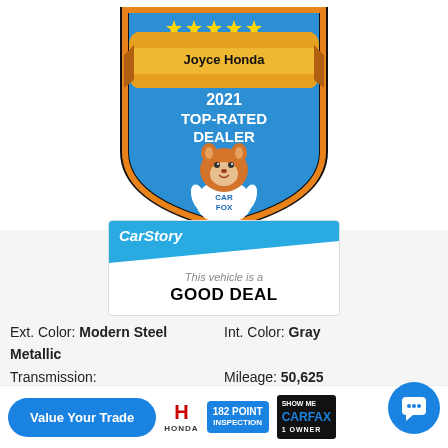[Figure (logo): Carfax Top-Rated Dealer badge for Joyce Honda 2021 with Car Fox mascot and 5 gold stars]
[Figure (infographic): CarStory badge showing 'This vehicle is a GOOD DEAL']
Ext. Color: Modern Steel Metallic    Int. Color: Gray
Transmission: Automatic    Mileage: 50,625
Stock: P04150B    Drivetrain: AWD
Engine: 6 Cylinders
VIN 5FNYF6H12LB001545
[Figure (logo): Value Your Trade blue pill button, Honda logo, 182 Point Inspection badge, Show Me Carfax 1 Owner badge, blue chat button]